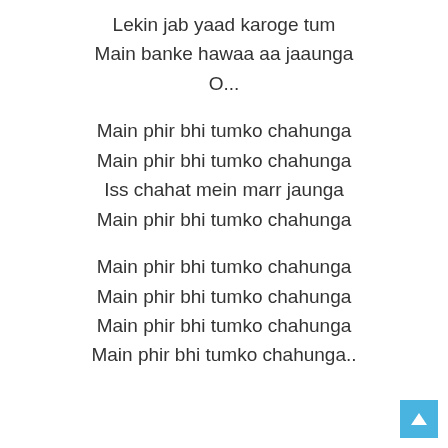Lekin jab yaad karoge tum
Main banke hawaa aa jaaunga
O...
Main phir bhi tumko chahunga
Main phir bhi tumko chahunga
Iss chahat mein marr jaunga
Main phir bhi tumko chahunga
Main phir bhi tumko chahunga
Main phir bhi tumko chahunga
Main phir bhi tumko chahunga
Main phir bhi tumko chahunga..